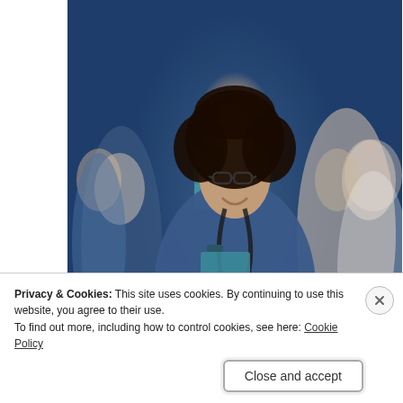[Figure (photo): A smiling Black woman in blue medical scrubs wearing glasses and a stethoscope, holding a teal clipboard. Behind her is a group of medical staff in blue scrubs in a blurred background. Slideshow media controls (skip back, pause, skip forward) visible at bottom right.]
radnet Surgical Assistant/Technologist Jobs in Ashburn Apply Now
[Figure (photo): Partial view of an elderly person partially visible, green/dark background, bottom portion of page.]
Privacy & Cookies: This site uses cookies. By continuing to use this website, you agree to their use.
To find out more, including how to control cookies, see here: Cookie Policy
Close and accept